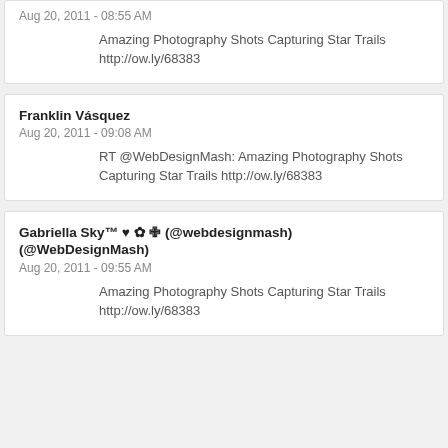Aug 20, 2011 - 08:55 AM
Amazing Photography Shots Capturing Star Trails http://ow.ly/68383
Franklin Vásquez
Aug 20, 2011 - 09:08 AM
RT @WebDesignMash: Amazing Photography Shots Capturing Star Trails http://ow.ly/68383
Gabriella Sky™ ♥ ✿ ✙ (@webdesignmash) (@WebDesignMash)
Aug 20, 2011 - 09:55 AM
Amazing Photography Shots Capturing Star Trails http://ow.ly/68383